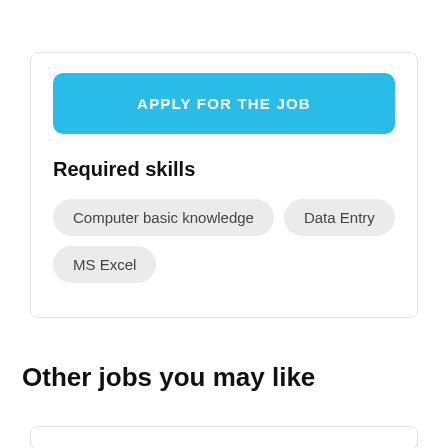[Figure (screenshot): Blue 'APPLY FOR THE JOB' button inside a card with border]
Required skills
Computer basic knowledge
Data Entry
MS Excel
Other jobs you may like